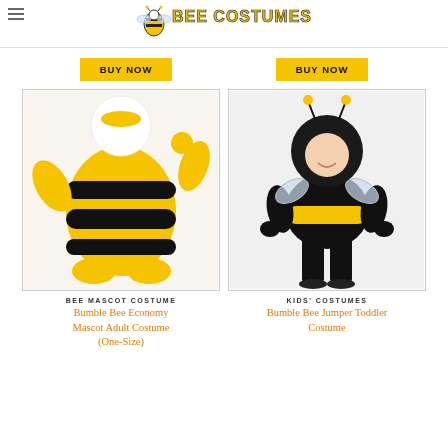Bee Costumes
BUY NOW
BUY NOW
[Figure (photo): Bumble bee economy mascot adult costume - yellow and black striped full-body mascot costume with large head, waving arm pose]
BEE MASCOT COSTUME
Bumble Bee Economy Mascot Adult Costume (One-Size)
[Figure (photo): Bumble bee jumper toddler costume - child wearing black and yellow striped bee costume with black furry hood and antennae, with wings]
KIDS' COSTUMES
Bumble Bee Jumper Toddler Costume